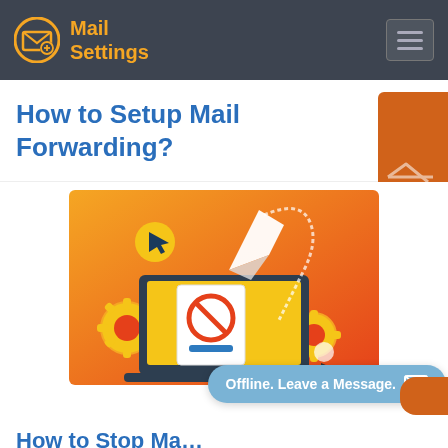Mail Settings
How to Setup Mail Forwarding?
[Figure (illustration): Illustration showing a laptop with a no-symbol document, paper airplane flying upward, gear icons, and orange/yellow background — representing mail forwarding setup.]
Offline. Leave a Message.
How to Stop Ma…